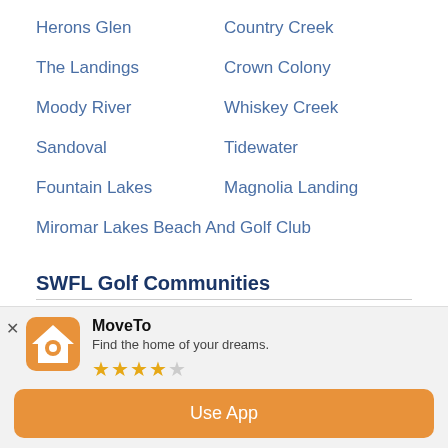Herons Glen
Country Creek
The Landings
Crown Colony
Moody River
Whiskey Creek
Sandoval
Tidewater
Fountain Lakes
Magnolia Landing
Miromar Lakes Beach And Golf Club
SWFL Golf Communities
SWFL Communities & Subdivisions